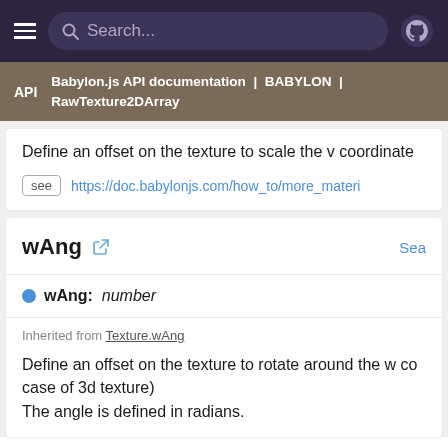Search...
API | Babylon.js API documentation | BABYLON | RawTexture2DArray
Define an offset on the texture to scale the v coordinate
see https://doc.babylonjs.com/how_to/more_materi
wAng
wAng : number
Inherited from Texture.wAng
Define an offset on the texture to rotate around the w co case of 3d texture)
The angle is defined in radians.